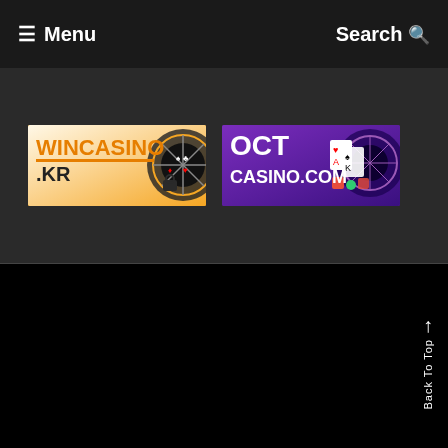Menu | Search
[Figure (logo): WinCasino.KR banner advertisement with orange and white color scheme, showing casino wheel graphics]
[Figure (logo): OCT Casino.com banner advertisement with purple background, showing roulette wheel, cards and chips]
Back To Top